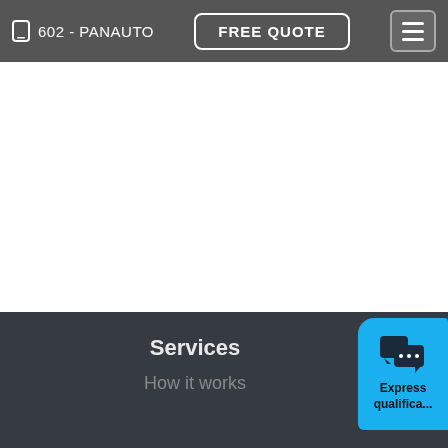602 - PANAUTO | FREE QUOTE
[Figure (screenshot): White empty content area below navigation bar]
Services
How it works
[Figure (infographic): Blue chat widget with speech bubble icon and text 'Express qualifica...']